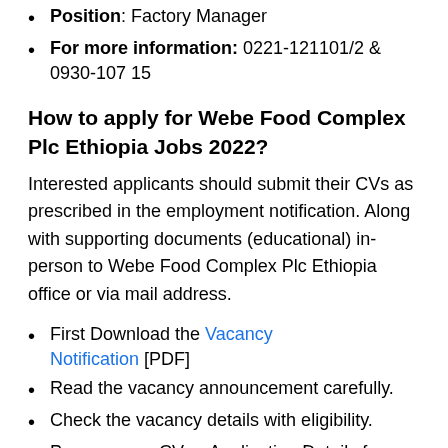Position: Factory Manager
For more information: 0221-121101/2 & 0930-107 15
How to apply for Webe Food Complex Plc Ethiopia Jobs 2022?
Interested applicants should submit their CVs as prescribed in the employment notification. Along with supporting documents (educational) in-person to Webe Food Complex Plc Ethiopia office or via mail address.
First Download the Vacancy Notification [PDF]
Read the vacancy announcement carefully.
Check the vacancy details with eligibility.
Prepare your CV or Application Details for